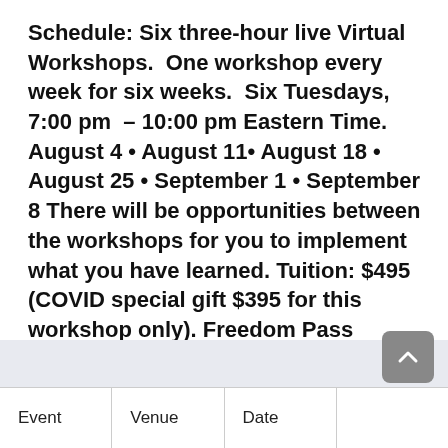Schedule: Six three-hour live Virtual Workshops.  One workshop every week for six weeks.  Six Tuesdays, 7:00 pm – 10:00 pm Eastern Time.  August 4 • August 11• August 18 • August 25 • September 1 • September 8 There will be opportunities between the workshops for you to implement what you have learned. Tuition: $495 (COVID special gift $395 for this workshop only). Freedom Pass available.
| Event | Venue | Date |
| --- | --- | --- |